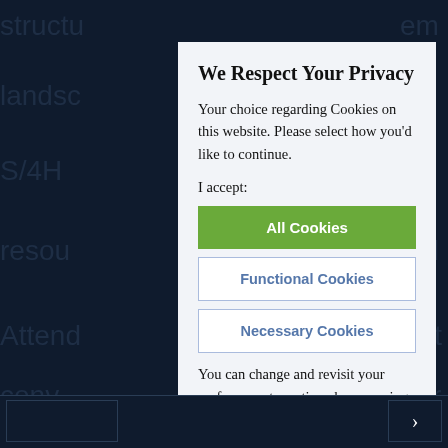[Figure (screenshot): Dark navy blue website background with partial text words visible: structu, em, landsc, AP, S/4H, resou, nd, Attend, ent, conv, r]
We Respect Your Privacy
Your choice regarding Cookies on this website. Please select how you'd like to continue.
I accept:
All Cookies
Functional Cookies
Necessary Cookies
You can change and revisit your preference at any time, by accessing the Cookies link in the footer of this website.